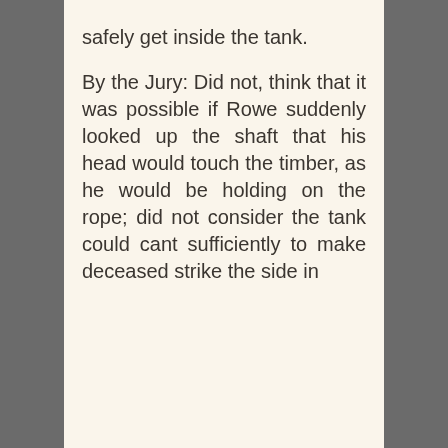safely get inside the tank. By the Jury: Did not, think that it was possible if Rowe suddenly looked up the shaft that his head would touch the timber, as he would be holding on the rope; did not consider the tank could cant sufficiently to make deceased strike the side in